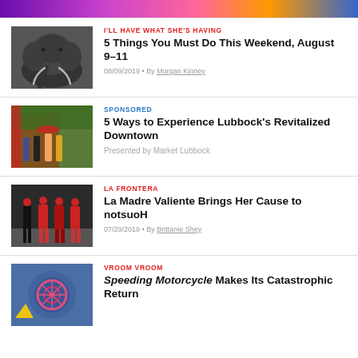[Figure (photo): Colorful top image strip, partially visible, purple/pink/orange tones]
[Figure (photo): Close-up black and white photo of elephants]
I'LL HAVE WHAT SHE'S HAVING
5 Things You Must Do This Weekend, August 9–11
08/09/2019 • By Morgan Kinney
[Figure (photo): Group of people in colorful outfits outside a building]
SPONSORED
5 Ways to Experience Lubbock's Revitalized Downtown
Presented by Market Lubbock
[Figure (photo): Group of people in red and black costumes]
LA FRONTERA
La Madre Valiente Brings Her Cause to notsuoH
07/29/2019 • By Brittanie Shey
[Figure (photo): Colorful abstract blue background with pink/red circular design]
VROOM VROOM
Speeding Motorcycle Makes Its Catastrophic Return